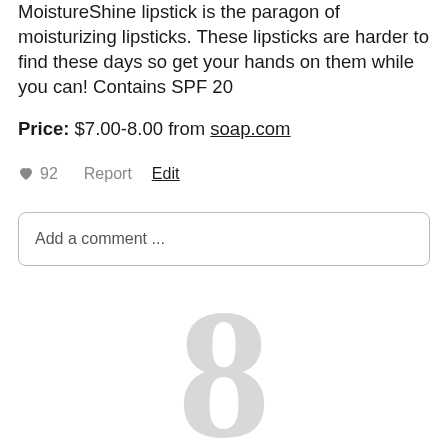MoistureShine lipstick is the paragon of moisturizing lipsticks. These lipsticks are harder to find these days so get your hands on them while you can! Contains SPF 20
Price: $7.00-8.00 from soap.com
92  Report  Edit
Add a comment ...
[Figure (illustration): Large light gray decorative number 8 or infinity symbol placeholder graphic]